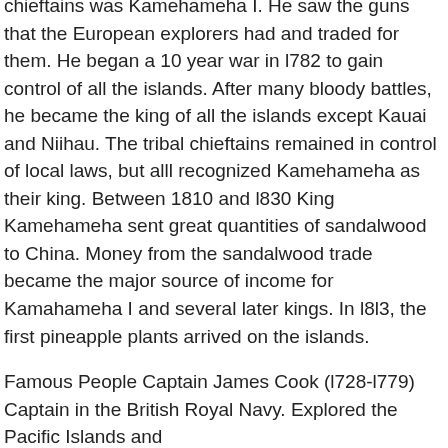chieftains was Kamehameha I. He saw the guns that the European explorers had and traded for them. He began a 10 year war in l782 to gain control of all the islands. After many bloody battles, he became the king of all the islands except Kauai and Niihau. The tribal chieftains remained in control of local laws, but alll recognized Kamehameha as their king. Between 1810 and l830 King Kamehameha sent great quantities of sandalwood to China. Money from the sandalwood trade became the major source of income for Kamahameha I and several later kings. In l8l3, the first pineapple plants arrived on the islands.
Famous People Captain James Cook (l728-l779) Captain in the British Royal Navy. Explored the Pacific Islands and